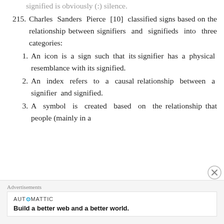signified is obviously (:) silence.
215. Charles Sanders Pierce [10] classified signs based on the relationship between signifiers and signifieds into three categories:
1. An icon is a sign such that its signifier has a physical resemblance with its signified.
2. An index refers to a causal relationship between a signifier and signified.
3. A symbol is created based on the relationship that people (mainly in a
Advertisements
AUTOMATTIC
Build a better web and a better world.